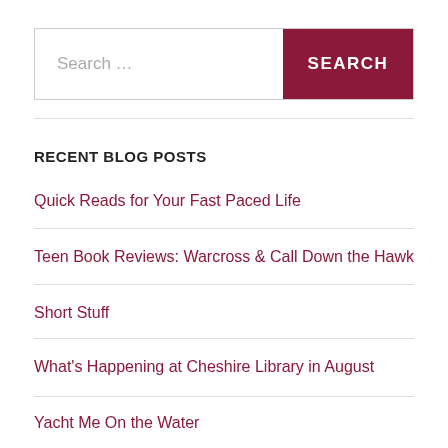Search ...
RECENT BLOG POSTS
Quick Reads for Your Fast Paced Life
Teen Book Reviews: Warcross & Call Down the Hawk
Short Stuff
What's Happening at Cheshire Library in August
Yacht Me On the Water